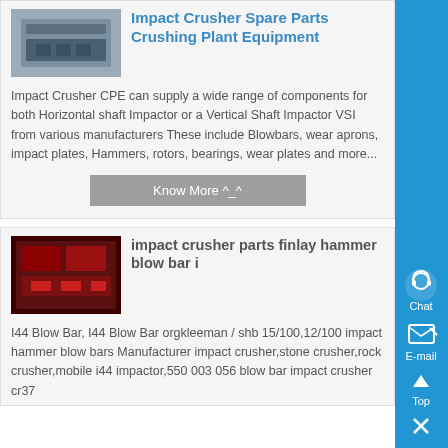Impact Crusher Spare Parts Crushing Plant Equipment
[Figure (photo): Industrial crusher equipment photo, gray tones]
Impact Crusher CPE can supply a wide range of components for both Horizontal shaft Impactor or a Vertical Shaft Impactor VSI from various manufacturers These include Blowbars, wear aprons, impact plates, Hammers, rotors, bearings, wear plates and more...
Know More ^_^
impact crusher parts finlay hammer blow bar i
[Figure (photo): Red industrial crusher parts photo]
I44 Blow Bar, I44 Blow Bar orgkleeman / shb 15/100,12/100 impact hammer blow bars Manufacturer impact crusher,stone crusher,rock crusher,mobile i44 impactor,550 003 056 blow bar impact crusher cr37